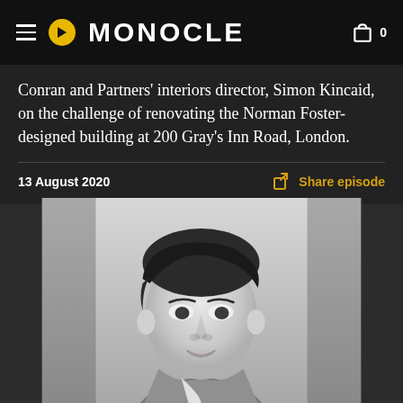MONOCLE
Conran and Partners' interiors director, Simon Kincaid, on the challenge of renovating the Norman Foster-designed building at 200 Gray's Inn Road, London.
13 August 2020
Share episode
[Figure (photo): Black and white portrait photograph of Simon Kincaid, a young man with dark swept-back hair, wearing a collared shirt, looking slightly to the side with a neutral expression.]